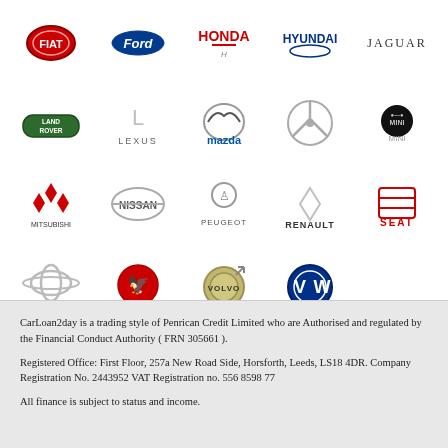[Figure (logo): Grid of car brand logos: Fiat, Ford, Honda, Hyundai, Jaguar, Land Rover, Lexus, Mazda, Mercedes-Benz, MINI, Mitsubishi, Nissan, Peugeot, Renault, SEAT, Toyota, Vauxhall, Volvo, Volkswagen]
CarLoan2day is a trading style of Penrican Credit Limited who are Authorised and regulated by the Financial Conduct Authority ( FRN 305661 ).
Registered Office: First Floor, 257a New Road Side, Horsforth, Leeds, LS18 4DR. Company Registration No. 2443952 VAT Registration no. 556 8598 77
All finance is subject to status and income.